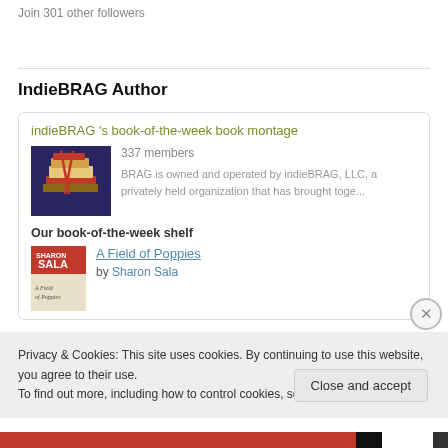Join 301 other followers
IndieBRAG Author
[Figure (infographic): IndieBRAG widget box showing book montage group with thumbnail image of stacked books, '337 members', description text, a shelf section, and book cover for 'A Field of Poppies' by Sharon Sala]
Privacy & Cookies: This site uses cookies. By continuing to use this website, you agree to their use.
To find out more, including how to control cookies, see here: Cookie Policy
Close and accept